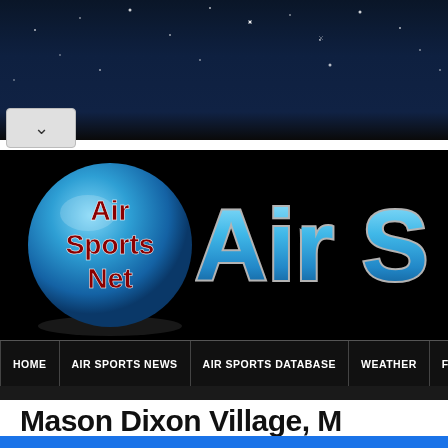[Figure (screenshot): Hair Cuttery advertisement banner with yellow logo, blue brand name text, and blue arrow icon on right]
[Figure (screenshot): Air Sports Net website header with dark starry night background, blue sphere logo with red bold text 'Air Sports Net', and cyan styled 'Air Sp' text on right]
HOME | AIR SPORTS NEWS | AIR SPORTS DATABASE | WEATHER | FIND A
Mason Dixon Village, M